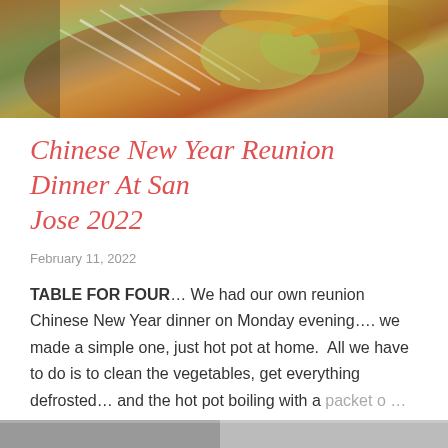[Figure (photo): Top portion of a food photo showing a hot pot dish with vegetables, bean sprouts, cabbage, carrots, and noodles in a red bowl on a dark surface.]
Chinese New Year Reunion Dinner At San Jose 2022
February 11, 2022
TABLE FOR FOUR… We had our own reunion Chinese New Year dinner on Monday evening…. we made a simple one, just hot pot at home.  All we have to do is to clean the vegetables, get everything defrosted… and the hot pot boiling with a packet o …
SHARE   6 COMMENTS   READ MORE
[Figure (photo): Bottom edge of another photo visible at the very bottom of the page.]